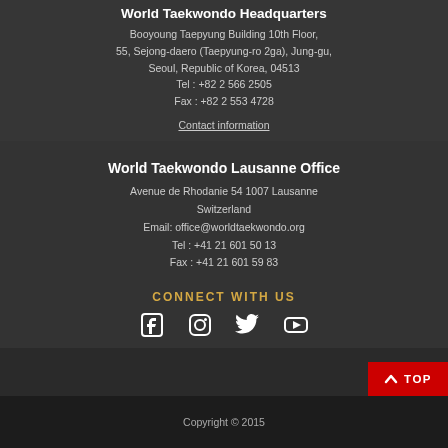World Taekwondo Headquarters
Booyoung Taepyung Building 10th Floor,
55, Sejong-daero (Taepyung-ro 2ga), Jung-gu,
Seoul, Republic of Korea, 04513
Tel : +82 2 566 2505
Fax : +82 2 553 4728
Contact information
World Taekwondo Lausanne Office
Avenue de Rhodanie 54 1007 Lausanne
Switzerland
Email: office@worldtaekwondo.org
Tel : +41 21 601 50 13
Fax : +41 21 601 59 83
CONNECT WITH US
[Figure (infographic): Social media icons: Facebook, Instagram, Twitter, YouTube]
Copyright © 2015